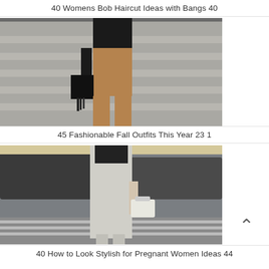40 Womens Bob Haircut Ideas with Bangs 40
[Figure (photo): Woman from behind wearing black top and brown slim trousers, holding a black bag with tassel, standing near stone steps outdoors.]
45 Fashionable Fall Outfits This Year 23 1
[Figure (photo): Woman in a light grey/white sleeveless long dress over a black top, carrying a white handbag, walking on a street crosswalk with parked cars in background.]
40 How to Look Stylish for Pregnant Women Ideas 44